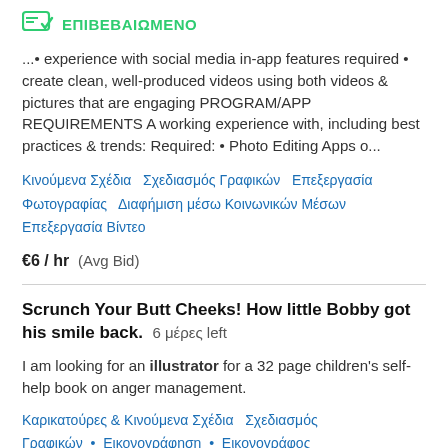[Figure (logo): Green verified/confirmed badge icon with checkmark]
ΕΠΙΒΕΒΑΙΩΜΕΝΟ
...• experience with social media in-app features required • create clean, well-produced videos using both videos & pictures that are engaging PROGRAM/APP REQUIREMENTS A working experience with, including best practices & trends: Required: • Photo Editing Apps o...
Κινούμενα Σχέδια   Σχεδιασμός Γραφικών   Επεξεργασία Φωτογραφίας   Διαφήμιση μέσω Κοινωνικών Μέσων   Επεξεργασία Βίντεο
€6 / hr  (Avg Bid)
Scrunch Your Butt Cheeks! How little Bobby got his smile back.  6 μέρες left
I am looking for an illustrator for a 32 page children's self-help book on anger management.
Καρικατούρες & Κινούμενα Σχέδια   Σχεδιασμός Γραφικών   Εικονογράφηση   Εικονογράφος